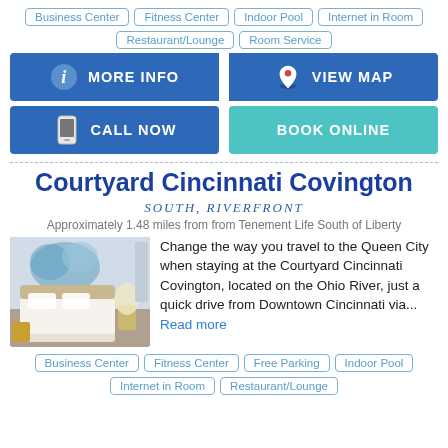Business Center
Fitness Center
Indoor Pool
Internet in Room
Restaurant/Lounge
Room Service
MORE INFO
VIEW MAP
CALL NOW
BOOK ONLINE
Courtyard Cincinnati Covington
SOUTH, RIVERFRONT
Approximately 1.48 miles from from Tenement Life South of Liberty
Change the way you travel to the Queen City when staying at the Courtyard Cincinnati Covington, located on the Ohio River, just a quick drive from Downtown Cincinnati via... Read more
[Figure (photo): Hotel room interior with large bed, decorative wall art, lamp and seating area]
Business Center
Fitness Center
Free Parking
Indoor Pool
Internet in Room
Restaurant/Lounge